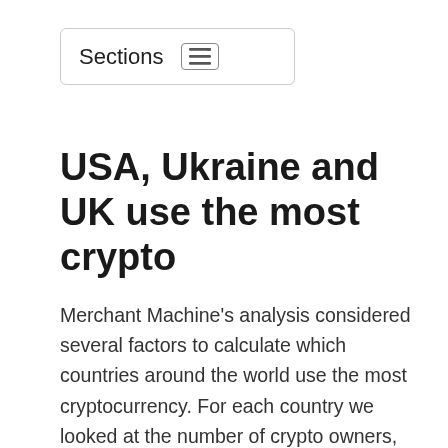Sections
USA, Ukraine and UK use the most crypto
Merchant Machine's analysis considered several factors to calculate which countries around the world use the most cryptocurrency. For each country we looked at the number of crypto owners, the number of businesses that accept crypto payments, the number of Bitcoin ATMs available, and average search volume for a range of cryptocurrency-related keywords.